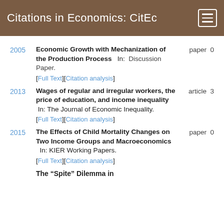Citations in Economics: CitEc
2005 — Economic Growth with Mechanization of the Production Process In: paper 0 Discussion Paper. [Full Text][Citation analysis]
2013 — Wages of regular and irregular workers, the price of education, and income inequality In: The Journal of Economic Inequality. article 3 [Full Text][Citation analysis]
2015 — The Effects of Child Mortality Changes on Two Income Groups and Macroeconomics In: KIER Working Papers. paper 0 [Full Text][Citation analysis]
The “Spite” Dilemma in